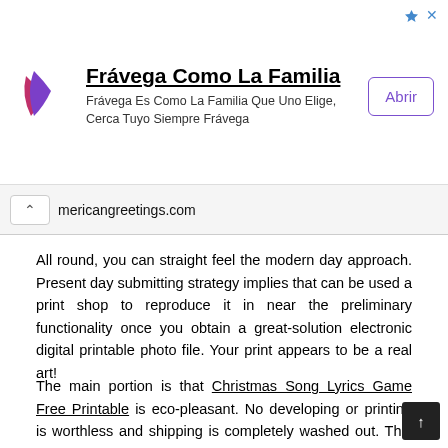[Figure (infographic): Advertisement banner for Frávega Como La Familia with logo, tagline, and Abrir button]
mericangreetings.com
All round, you can straight feel the modern day approach. Present day submitting strategy implies that can be used a print shop to reproduce it in near the preliminary functionality once you obtain a great-solution electronic digital printable photo file. Your print appears to be a real art!
The main portion is that Christmas Song Lyrics Game Free Printable is eco-pleasant. No developing or printing is worthless and shipping is completely washed out. This lowers stress about the environment of the earth that will revenue the climate inside the prolonged expression. Christmas Song Lyrics Game Free Printable